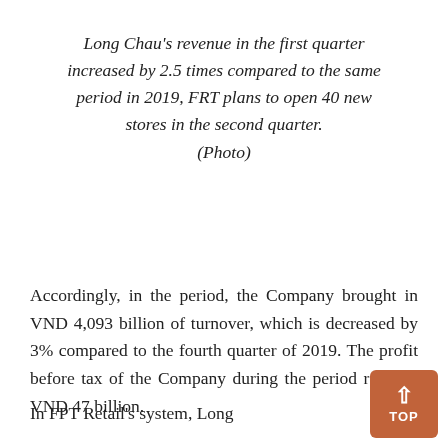Long Chau's revenue in the first quarter increased by 2.5 times compared to the same period in 2019, FRT plans to open 40 new stores in the second quarter. (Photo)
Accordingly, in the period, the Company brought in VND 4,093 billion of turnover, which is decreased by 3% compared to the fourth quarter of 2019. The profit before tax of the Company during the period reached VND 47 billion.
In FPT Retail's system, Long